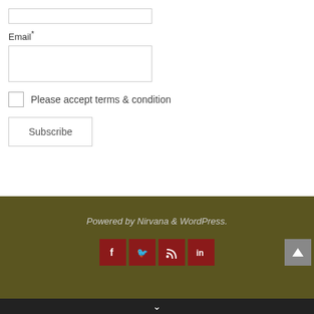Email*
Please accept terms & condition
Subscribe
Powered by Nirvana & WordPress.